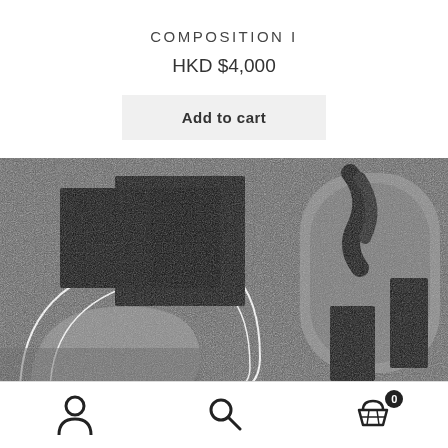COMPOSITION I
HKD $4,000
Add to cart
[Figure (photo): Black and white abstract artwork photograph showing geometric shapes with curved lines, black rectangular cutouts, and textured grainy background resembling a composition print.]
Navigation bar with user icon, search icon, and cart icon with badge showing 0